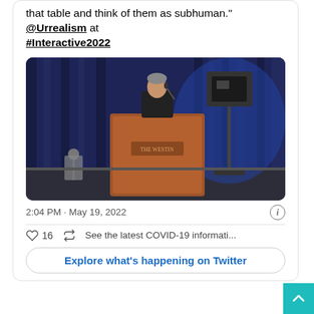that table and think of them as subhuman." @Urrealism at #Interactive2022
[Figure (photo): A man in a dark suit speaking at a wooden podium labeled 'The Westin' on a stage with blue curtains and speakers on a stand in the background.]
2:04 PM · May 19, 2022
16  See the latest COVID-19 informati...
Explore what's happening on Twitter